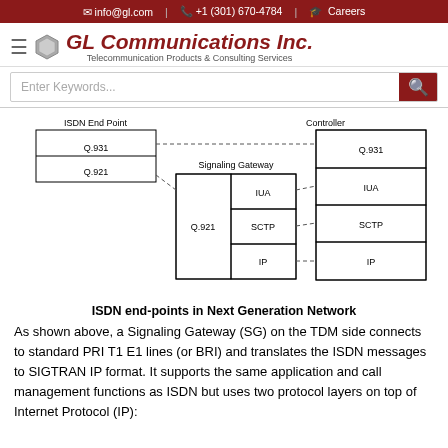info@gl.com | +1 (301) 670-4784 | Careers
[Figure (logo): GL Communications Inc. logo with hexagon icon and tagline 'Telecommunication Products & Consulting Services']
[Figure (other): Website search bar with 'Enter Keywords...' placeholder and red search button]
[Figure (network-graph): Network diagram showing ISDN end-points in Next Generation Network. Left box: ISDN End Point with Q.931 and Q.921 layers. Center box: Signaling Gateway with Q.921, IUA, SCTP, and IP layers. Right box: Controller with Q.931, IUA, SCTP, IP layers. Dashed lines connect Q.931 to Q.931, Q.921 to IUA, IUA to IUA, SCTP to SCTP, IP to IP.]
ISDN end-points in Next Generation Network
As shown above, a Signaling Gateway (SG) on the TDM side connects to standard PRI T1 E1 lines (or BRI) and translates the ISDN messages to SIGTRAN IP format. It supports the same application and call management functions as ISDN but uses two protocol layers on top of Internet Protocol (IP):